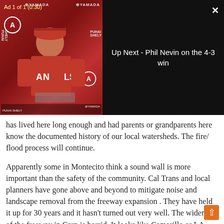[Figure (screenshot): Video player overlay showing an LA Angels press conference. Ad label reads 'Ad 1 of 1 (0:30)'. Right panel shows dark background with text 'Up Next - Phil Nevin on the 4-3 win'. Close button (X) in top right.]
has lived here long enough and had parents or grandparents here know the documented history of our local watersheds. The fire/ flood process will continue.

Apparently some in Montecito think a sound wall is more important than the safety of the community. Cal Trans and local planners have gone above and beyond to mitigate noise and landscape removal from the freeway expansion . They have held it up for 30 years and it hasn't turned out very well. The widening of the freeway in Carp is horrid. It looks like Camarillo or LA. But not in Montecito. They have special seamless pavement that makes less noise, special patina guard rails and a colored